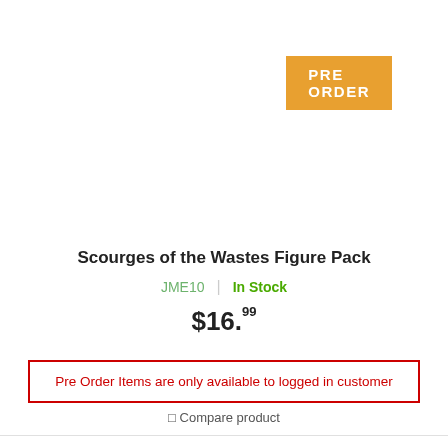PRE ORDER
Scourges of the Wastes Figure Pack
JME10  |  In Stock
$16.99
Pre Order Items are only available to logged in customer
Compare product